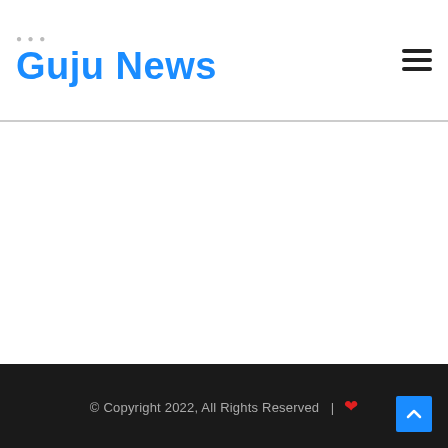Guju News
© Copyright 2022, All Rights Reserved  |  ❤